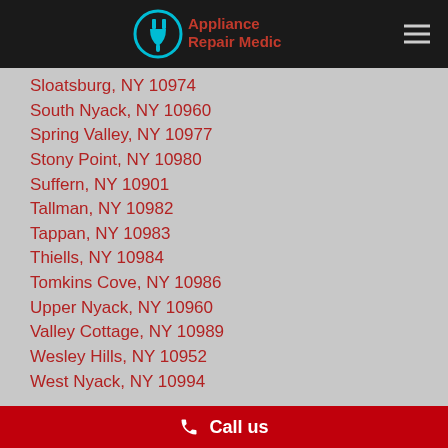Appliance Repair Medic
Sloatsburg, NY 10974
South Nyack, NY 10960
Spring Valley, NY 10977
Stony Point, NY 10980
Suffern, NY 10901
Tallman, NY 10982
Tappan, NY 10983
Thiells, NY 10984
Tomkins Cove, NY 10986
Upper Nyack, NY 10960
Valley Cottage, NY 10989
Wesley Hills, NY 10952
West Nyack, NY 10994
Cities Served
Allendale, NJ 07401
Call us